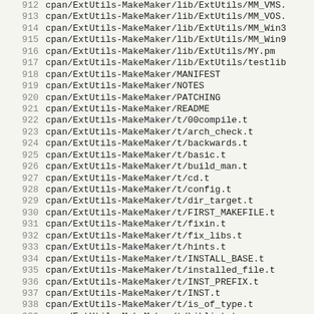912 cpan/ExtUtils-MakeMaker/lib/ExtUtils/MM_VMS.
913 cpan/ExtUtils-MakeMaker/lib/ExtUtils/MM_VOS.
914 cpan/ExtUtils-MakeMaker/lib/ExtUtils/MM_Win3
915 cpan/ExtUtils-MakeMaker/lib/ExtUtils/MM_Win9
916 cpan/ExtUtils-MakeMaker/lib/ExtUtils/MY.pm
917 cpan/ExtUtils-MakeMaker/lib/ExtUtils/testlib
918 cpan/ExtUtils-MakeMaker/MANIFEST
919 cpan/ExtUtils-MakeMaker/NOTES
920 cpan/ExtUtils-MakeMaker/PATCHING
921 cpan/ExtUtils-MakeMaker/README
922 cpan/ExtUtils-MakeMaker/t/00compile.t
923 cpan/ExtUtils-MakeMaker/t/arch_check.t
924 cpan/ExtUtils-MakeMaker/t/backwards.t
925 cpan/ExtUtils-MakeMaker/t/basic.t
926 cpan/ExtUtils-MakeMaker/t/build_man.t
927 cpan/ExtUtils-MakeMaker/t/cd.t
928 cpan/ExtUtils-MakeMaker/t/config.t
929 cpan/ExtUtils-MakeMaker/t/dir_target.t
930 cpan/ExtUtils-MakeMaker/t/FIRST_MAKEFILE.t
931 cpan/ExtUtils-MakeMaker/t/fixin.t
932 cpan/ExtUtils-MakeMaker/t/fix_libs.t
933 cpan/ExtUtils-MakeMaker/t/hints.t
934 cpan/ExtUtils-MakeMaker/t/INSTALL_BASE.t
935 cpan/ExtUtils-MakeMaker/t/installed_file.t
936 cpan/ExtUtils-MakeMaker/t/INST_PREFIX.t
937 cpan/ExtUtils-MakeMaker/t/INST.t
938 cpan/ExtUtils-MakeMaker/t/is_of_type.t
939 cpan/ExtUtils-MakeMaker/t/Liblist.t
940 cpan/ExtUtils-MakeMaker/t/lib/MakeMaker/Test
941 cpan/ExtUtils-MakeMaker/t/lib/MakeMaker/Test
942 cpan/ExtUtils-MakeMaker/t/lib/MakeMaker/Test
943 cpan/ExtUtils-MakeMaker/t/lib/MakeMaker/Test
944 cpan/ExtUtils-MakeMaker/t/lib/MakeMaker/T...